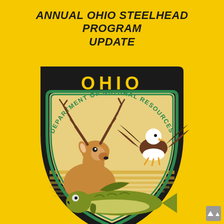ANNUAL OHIO STEELHEAD PROGRAM UPDATE
[Figure (logo): Ohio Department of Natural Resources badge/shield logo featuring a white-tailed deer, bald eagle, and fish (walleye/pike), with 'OHIO' in yellow letters at top and 'DEPARTMENT OF NATURAL RESOURCES' in green curved text, and 'DIVISION OF' at the bottom in yellow. The shield has a dark background with yellow border.]